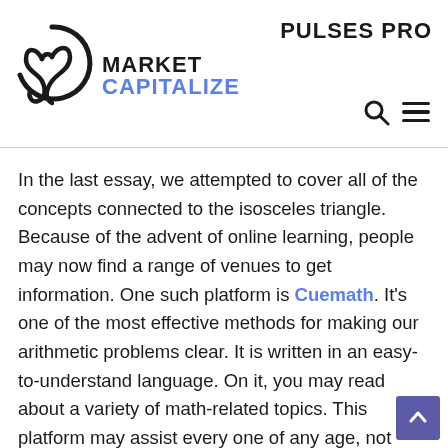[Figure (logo): Market Capitalize logo with abstract M icon and PULSES PRO text]
In the last essay, we attempted to cover all of the concepts connected to the isosceles triangle. Because of the advent of online learning, people may now find a range of venues to get information. One such platform is Cuemath. It's one of the most effective methods for making our arithmetic problems clear. It is written in an easy-to-understand language. On it, you may read about a variety of math-related topics. This platform may assist every one of any age, not only school or college students, by providing access to th large quantity of knowledge available. The popularity of